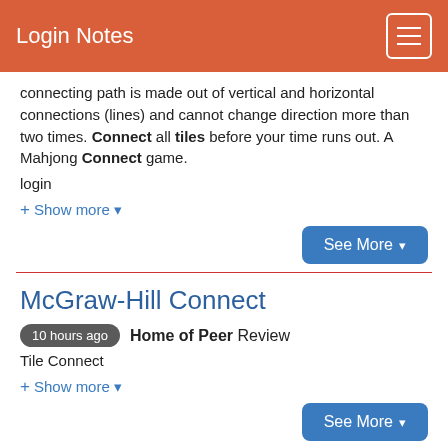Login Notes
connecting path is made out of vertical and horizontal connections (lines) and cannot change direction more than two times. Connect all tiles before your time runs out. A Mahjong Connect game.
login
+ Show more
See More
McGraw-Hill Connect
10 hours ago  Home of Peer Review
Tile Connect
+ Show more
See More
Connect Games - Free online games